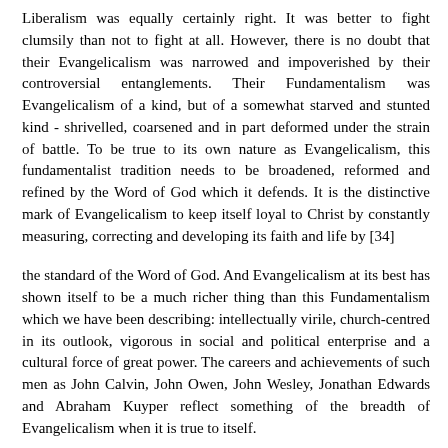Liberalism was equally certainly right. It was better to fight clumsily than not to fight at all. However, there is no doubt that their Evangelicalism was narrowed and impoverished by their controversial entanglements. Their Fundamentalism was Evangelicalism of a kind, but of a somewhat starved and stunted kind - shrivelled, coarsened and in part deformed under the strain of battle. To be true to its own nature as Evangelicalism, this fundamentalist tradition needs to be broadened, reformed and refined by the Word of God which it defends. It is the distinctive mark of Evangelicalism to keep itself loyal to Christ by constantly measuring, correcting and developing its faith and life by [34]
the standard of the Word of God. And Evangelicalism at its best has shown itself to be a much richer thing than this Fundamentalism which we have been describing: intellectually virile, church-centred in its outlook, vigorous in social and political enterprise and a cultural force of great power. The careers and achievements of such men as John Calvin, John Owen, John Wesley, Jonathan Edwards and Abraham Kuyper reflect something of the breadth of Evangelicalism when it is true to itself.